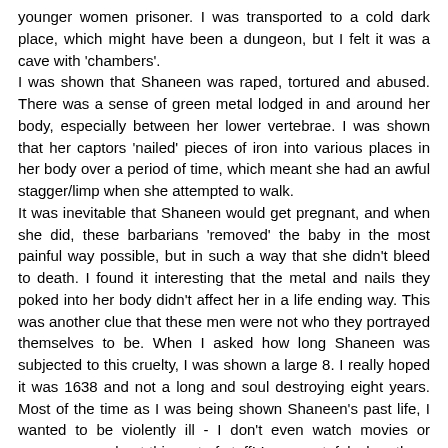younger women prisoner. I was transported to a cold dark place, which might have been a dungeon, but I felt it was a cave with 'chambers'. I was shown that Shaneen was raped, tortured and abused. There was a sense of green metal lodged in and around her body, especially between her lower vertebrae. I was shown that her captors 'nailed' pieces of iron into various places in her body over a period of time, which meant she had an awful stagger/limp when she attempted to walk. It was inevitable that Shaneen would get pregnant, and when she did, these barbarians 'removed' the baby in the most painful way possible, but in such a way that she didn't bleed to death. I found it interesting that the metal and nails they poked into her body didn't affect her in a life ending way. This was another clue that these men were not who they portrayed themselves to be. When I asked how long Shaneen was subjected to this cruelty, I was shown a large 8. I really hoped it was 1638 and not a long and soul destroying eight years. Most of the time as I was being shown Shaneen's past life, I wanted to be violently ill - I don't even watch movies or programmes about this sort of stuff! I was grateful when there was no more to be